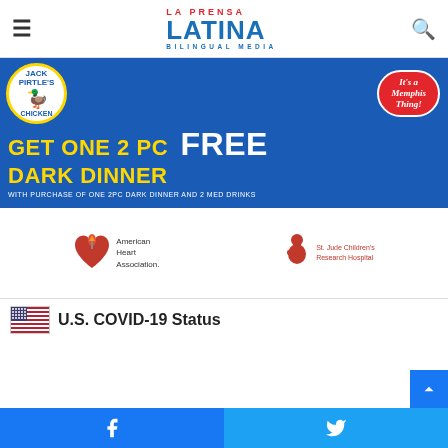[Figure (logo): La Prensa Latina Bilingual Media logo with hamburger menu and search icon]
[Figure (illustration): Jack Pirtle's Chicken advertisement: GET ONE 2 PC DARK DINNER FREE with purchase of one 2PC dark dinner and 2 med drinks. It's a Memphis Thing!]
[Figure (logo): American Heart Association logo]
[Figure (logo): St. Jude Children's Research Hospital logo]
U.S. COVID-19 Status
[Figure (illustration): Social sharing footer with Facebook and Twitter buttons, and scroll-to-top button]